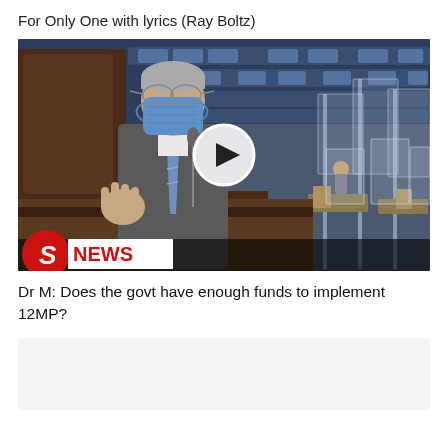For Only One with lyrics (Ray Boltz)
[Figure (screenshot): Video thumbnail showing a man in a grey suit and blue tie wearing a face mask, speaking in what appears to be a parliament chamber, with a play button overlay and a 'S NEWS' logo in the bottom left corner.]
Dr M: Does the govt have enough funds to implement 12MP?